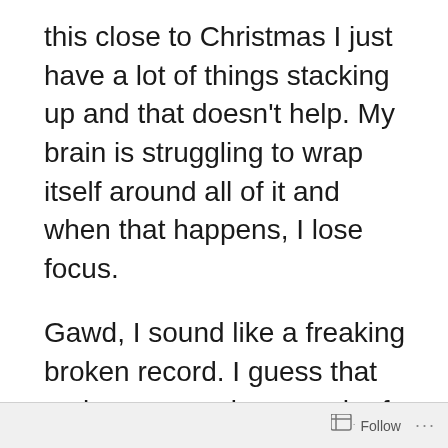this close to Christmas I just have a lot of things stacking up and that doesn't help. My brain is struggling to wrap itself around all of it and when that happens, I lose focus.
Gawd, I sound like a freaking broken record. I guess that makes sense since much of life is broken record repoititions. I just need to spin the positive ones instead of the same old sad songs that aren't selling this year.
How about this one? I had a great date with my sister last Saturday night. We went to the 801 and sat at the bar and drank and ate delicious food. We got each other caught up on life, which is
Follow